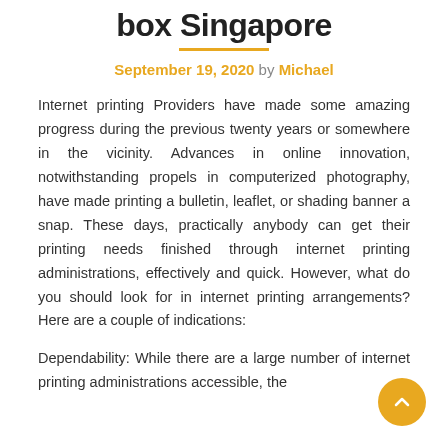box Singapore
September 19, 2020 by Michael
Internet printing Providers have made some amazing progress during the previous twenty years or somewhere in the vicinity. Advances in online innovation, notwithstanding propels in computerized photography, have made printing a bulletin, leaflet, or shading banner a snap. These days, practically anybody can get their printing needs finished through internet printing administrations, effectively and quick. However, what do you should look for in internet printing arrangements? Here are a couple of indications:
Dependability: While there are a large number of internet printing administrations accessible, the truth of the matter is, you should look at of the